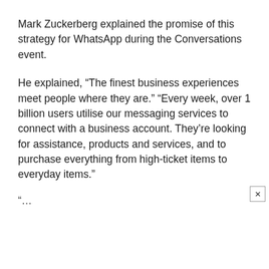Mark Zuckerberg explained the promise of this strategy for WhatsApp during the Conversations event.
He explained, “The finest business experiences meet people where they are.” “Every week, over 1 billion users utilise our messaging services to connect with a business account. They’re looking for assistance, products and services, and to purchase everything from high-ticket items to everyday items.”
“…